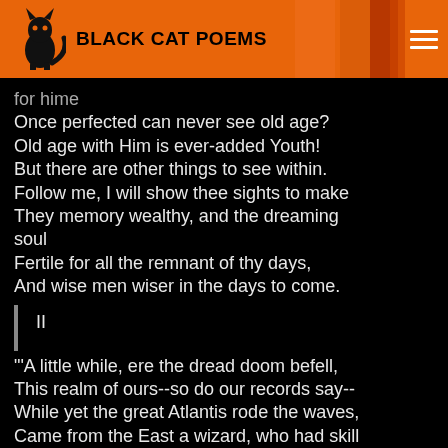BLACK CAT POEMS
for hime
Once perfected can never see old age?
Old age with Him is ever-added Youth!
But there are other things to see within.
Follow me, I will show thee sights to make
They memory wealthy, and the dreaming soul
Fertile for all the remnant of thy days,
And wise men wiser in the days to come.
II
"'A little while, ere the dread doom befell,
This realm of ours--so do our records say--
While yet the great Atlantis rode the waves,
Came from the East a wizard, who had skill
To give an outward life to inner moods
By colours, and by shadows, and by forms.
We thought at first he was no mortal man,